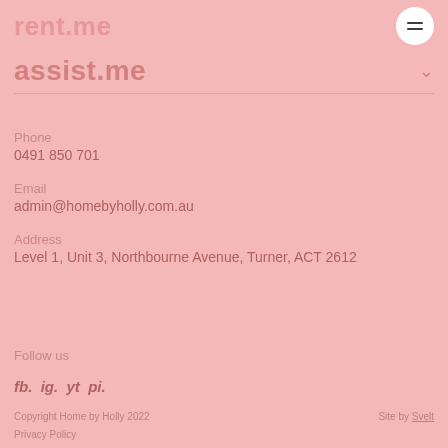rent.me
assist.me
Phone
0491 850 701
Email
admin@homebyholly.com.au
Address
Level 1, Unit 3, Northbourne Avenue, Turner, ACT 2612
Follow us
fb.  ig.  yt  pi.
Copyright Home by Holly 2022    Site by Svelt
Privacy Policy